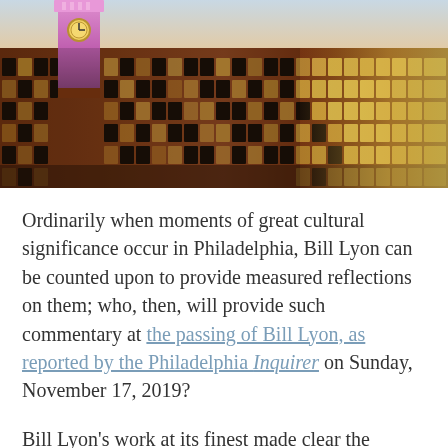[Figure (photo): Exterior photo of a large red-brick industrial or commercial building at dusk/sunset. A clock tower with pink/purple lighting is visible on the left. The building has many large windows, many of which are illuminated with warm yellow-orange light. The sky shows warm sunset colors.]
Ordinarily when moments of great cultural significance occur in Philadelphia, Bill Lyon can be counted upon to provide measured reflections on them; who, then, will provide such commentary at the passing of Bill Lyon, as reported by the Philadelphia Inquirer on Sunday, November 17, 2019?
Bill Lyon's work at its finest made clear the connections between sports and life, respecting the ardent fervor of this city's fans